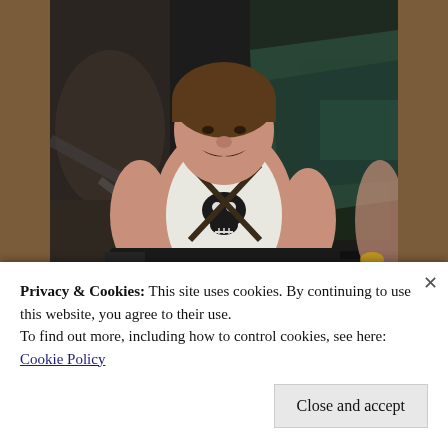[Figure (photo): A muscular man with a mustache and bowl-cut hair wearing a white sleeveless shirt with a skull logo, holding a large machine gun with bullet belts, standing in front of wrecked machinery and debris. Another person is partially visible on the right.]
Danny doesn't see it that way. He thinks he is a class act too. But he is not because when the
Privacy & Cookies: This site uses cookies. By continuing to use this website, you agree to their use.
To find out more, including how to control cookies, see here:
Cookie Policy
Close and accept